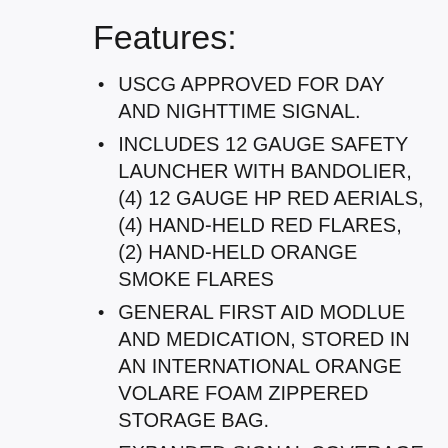Features:
USCG APPROVED FOR DAY AND NIGHTTIME SIGNAL.
INCLUDES 12 GAUGE SAFETY LAUNCHER WITH BANDOLIER, (4) 12 GAUGE HP RED AERIALS, (4) HAND-HELD RED FLARES, (2) HAND-HELD ORANGE SMOKE FLARES
GENERAL FIRST AID MODLUE AND MEDICATION, STORED IN AN INTERNATIONAL ORANGE VOLARE FOAM ZIPPERED STORAGE BAG.
EXPANDED SIGNAL COVERAGE FOR INLAND AND COASTAL BOATERS PLUS THE ADDITION OF FIRST AID MODULES